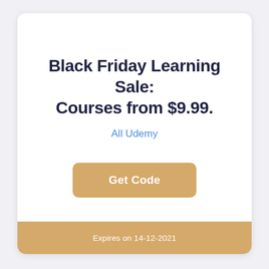Black Friday Learning Sale: Courses from $9.99.
All Udemy
Get Code
Expires on 14-12-2021